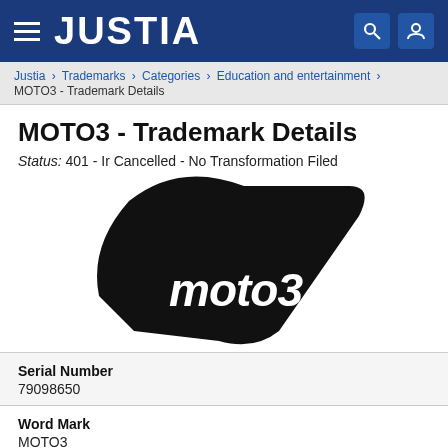JUSTIA
Justia › Trademarks › Categories › Education and entertainment › MOTO3 - Trademark Details
MOTO3 - Trademark Details
Status: 401 - Ir Cancelled - No Transformation Filed
[Figure (logo): MOTO3 trademark logo: black leaf/shield shape with white stylized 'moto3' text inside]
Serial Number
79098650
Word Mark
MOTO3